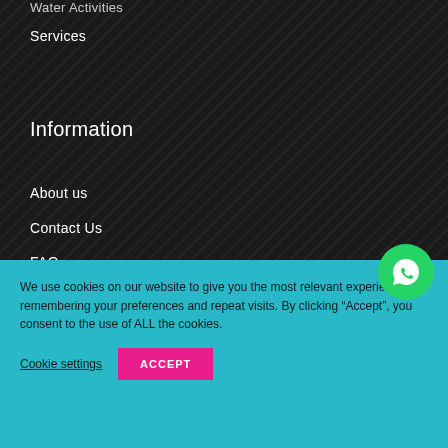Water Activities
Services
Information
About us
Contact Us
FAQ
We use cookies on our website to give you the most relevant experience by remembering your preferences and repeat visits. By clicking “Accept”, you consent to the use of ALL the cookies.
Cookie settings
ACCEPT